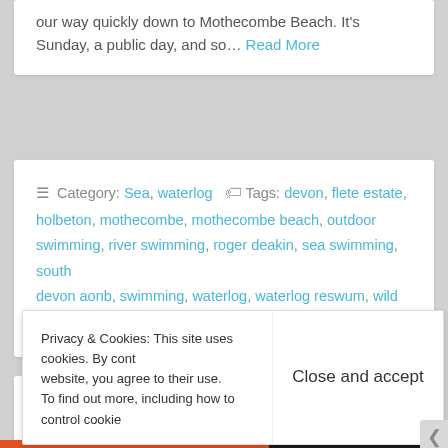our way quickly down to Mothecombe Beach. It's Sunday, a public day, and so… Read More
≡ Category: Sea, waterlog  🏷 Tags: devon, flete estate, holbeton, mothecombe, mothecombe beach, outdoor swimming, river swimming, roger deakin, sea swimming, south devon aonb, swimming, waterlog, waterlog reswum, wild swimming
Privacy & Cookies: This site uses cookies. By cont website, you agree to their use. To find out more, including how to control cookie Close and accept